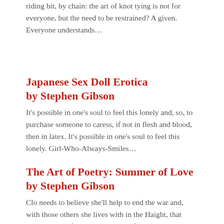riding bit, by chain: the art of knot tying is not for everyone, but the need to be restrained? A given. Everyone understands…
Japanese Sex Doll Erotica by Stephen Gibson
It's possible in one's soul to feel this lonely and, so, to purchase someone to caress, if not in flesh and blood, then in latex. It's possible in one's soul to feel this lonely. Girl-Who-Always-Smiles…
The Art of Poetry: Summer of Love by Stephen Gibson
Clo needs to believe she'll help to end the war and, with those others she lives with in the Haight, that she'll actually find peace and love forever.   She's run away with a girlfriend—this…